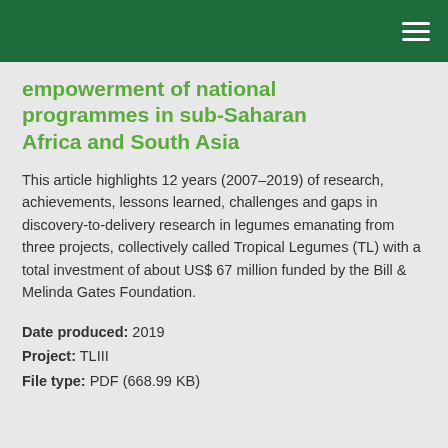empowerment of national programmes in sub-Saharan Africa and South Asia
This article highlights 12 years (2007–2019) of research, achievements, lessons learned, challenges and gaps in discovery-to-delivery research in legumes emanating from three projects, collectively called Tropical Legumes (TL) with a total investment of about US$ 67 million funded by the Bill & Melinda Gates Foundation.
Date produced: 2019
Project: TLIII
File type: PDF (668.99 KB)